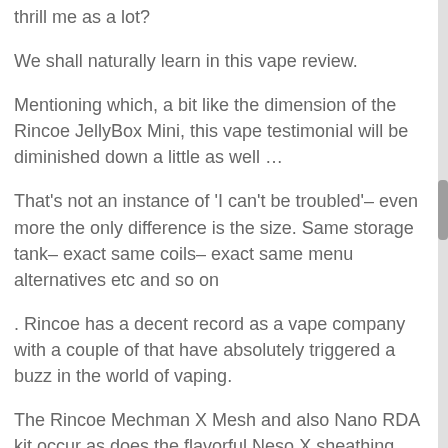thrill me as a lot?
We shall naturally learn in this vape review.
Mentioning which, a bit like the dimension of the Rincoe JellyBox Mini, this vape testimonial will be diminished down a little as well …
That's not an instance of 'I can't be troubled'– even more the only difference is the size. Same storage tank– exact same coils– exact same menu alternatives etc and so on
. Rincoe has a decent record as a vape company with a couple of that have absolutely triggered a buzz in the world of vaping.
The Rincoe Mechman X Mesh and also Nano RDA kit occur as does the flavorful Neso X sheathing package.
What Can We Anticipate From the Rincoe JellyBox Mini Vape Kit?
The exact same top quality construct, flavour and clouds as from the Rincoe Jellybox 220w kit is the short answer!